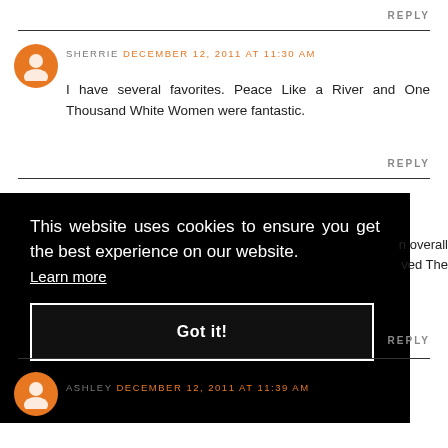REPLY
SHERRIE DECEMBER 12, 2011 AT 11:30 AM
I have several favorites. Peace Like a River and One Thousand White Women were fantastic.
REPLY
This website uses cookies to ensure you get the best experience on our website. Learn more
Got it!
n overall
ved The
REPLY
ASHLEY DECEMBER 12, 2011 AT 11:39 AM